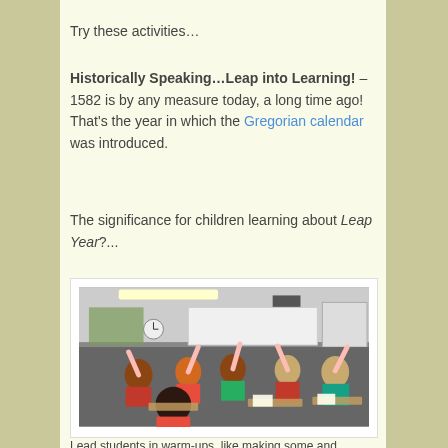Try these activities…
Historically Speaking…Leap into Learning! – 1582 is by any measure today, a long time ago! That's the year in which the Gregorian calendar was introduced.
The significance for children learning about Leap Year?...
[Figure (photo): Classroom of students raising their hands at their desks, with a whiteboard and clock visible in the background.]
Lead students in warm-ups, like making some and...